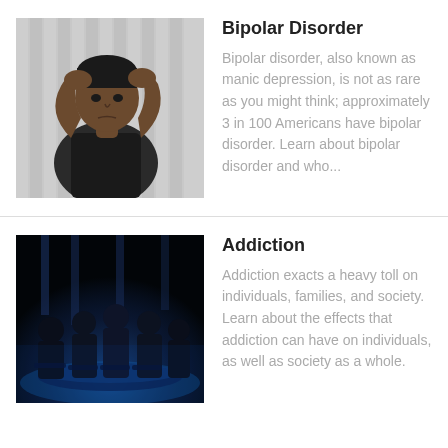[Figure (photo): Young Black man sitting with both hands on his head, looking stressed, against a light grey background]
Bipolar Disorder
Bipolar disorder, also known as manic depression, is not as rare as you might think; approximately 3 in 100 Americans have bipolar disorder. Learn about bipolar disorder and who...
[Figure (photo): Silhouettes of several people sitting in chairs in a darkened room with blue lighting, appearing to be in a group session]
Addiction
Addiction exacts a heavy toll on individuals, families, and society. Learn about the effects that addiction can have on individuals, as well as society as a whole.